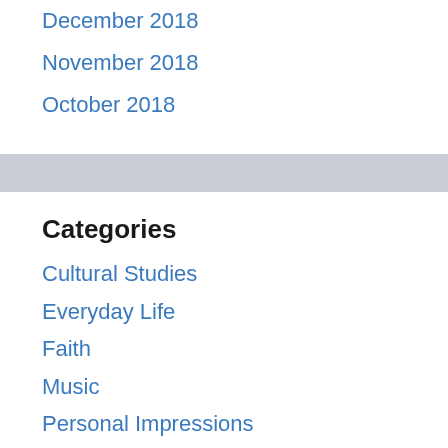December 2018
November 2018
October 2018
Categories
Cultural Studies
Everyday Life
Faith
Music
Personal Impressions
Personal Opinions
Reading